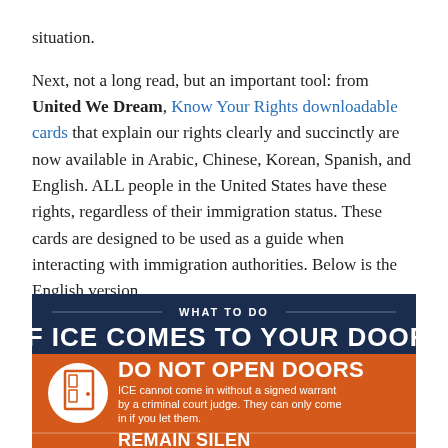situation.
Next, not a long read, but an important tool: from United We Dream, Know Your Rights downloadable cards that explain our rights clearly and succinctly are now available in Arabic, Chinese, Korean, Spanish, and English. ALL people in the United States have these rights, regardless of their immigration status. These cards are designed to be used as a guide when interacting with immigration authorities. Below is the English version.
[Figure (infographic): Infographic titled 'WHAT TO DO IF ICE COMES TO YOUR DOOR' with orange background. First section: DO NOT OPEN DOORS - ICE cannot come in without a signed warrant by a criminal court judge. They can only come in if you let them. Second section (partially visible): REMAIN SILENT]